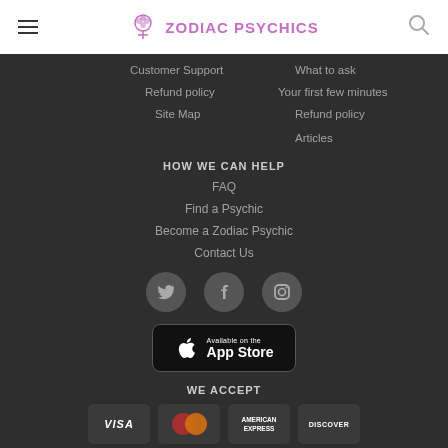Zodiac Psychics
Customer Support
What to ask
Refund policy
Your first few minutes
Site Map
Refund policy
Articles
HOW WE CAN HELP
FAQ
Find a Psychic
Become a Zodiac Psychic
Contact Us
[Figure (illustration): Social media icons: Twitter, Facebook, Instagram in grey circles]
[Figure (illustration): Available on the App Store button]
WE ACCEPT
[Figure (illustration): Payment method logos: Visa, Mastercard, American Express, Discover]